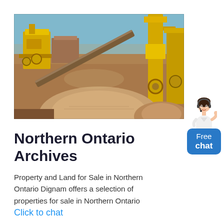[Figure (photo): Industrial mining/quarry site with yellow heavy machinery, conveyor belts, and large gravel mounds under a clear sky]
Northern Ontario Archives
Property and Land for Sale in Northern Ontario Dignam offers a selection of properties for sale in Northern Ontario
[Figure (illustration): Chat widget with a female avatar figure and a blue 'Free chat' button]
Click to chat